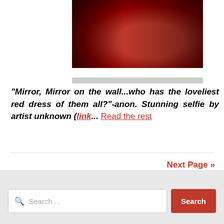[Figure (photo): Photo of a person wearing a red dress, partially visible, taken as a selfie in a mirror setting]
"Mirror, Mirror on the wall...who has the loveliest red dress of them all?"-anon. Stunning selfie by artist unknown (link... Read the rest
Next Page »
Search ...